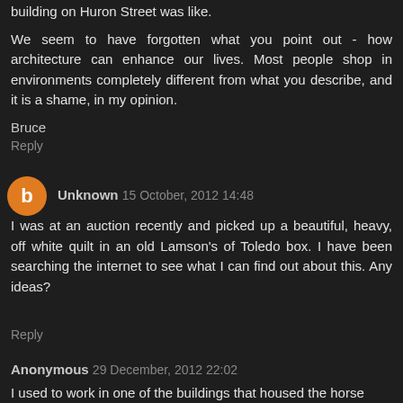building on Huron Street was like.
We seem to have forgotten what you point out - how architecture can enhance our lives. Most people shop in environments completely different from what you describe, and it is a shame, in my opinion.
Bruce
Reply
Unknown 15 October, 2012 14:48
I was at an auction recently and picked up a beautiful, heavy, off white quilt in an old Lamson's of Toledo box. I have been searching the internet to see what I can find out about this. Any ideas?
Reply
Anonymous 29 December, 2012 22:02
I used to work in one of the buildings that housed the horse